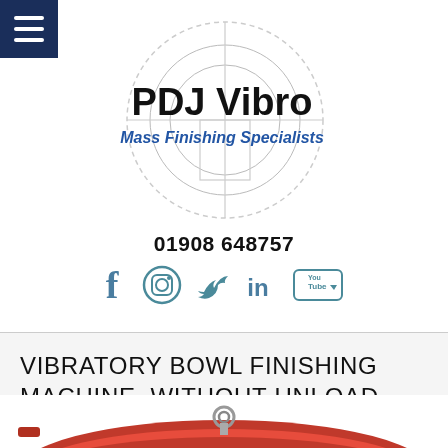[Figure (logo): PDJ Vibro logo with circular crosshair/target design in light grey outline. Bold black text reads 'PDJ Vibro' and blue italic text below reads 'Mass Finishing Specialists'.]
01908 648757
[Figure (infographic): Social media icons row: Facebook (f), Instagram (circle camera), Twitter (bird), LinkedIn (in), YouTube (play button with 'You Tube' label). All in teal/blue-grey color.]
VIBRATORY BOWL FINISHING MACHINE, WITHOUT UNLOAD
[Figure (photo): Partial photo of a red vibratory bowl finishing machine viewed from above, showing the circular bowl shape with a metal lifting eye/hook in the center.]